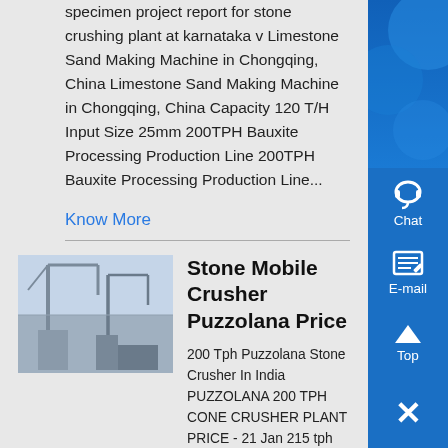specimen project report for stone crushing plant at karnataka v Limestone Sand Making Machine in Chongqing, China Limestone Sand Making Machine in Chongqing, China Capacity 120 T/H Input Size 25mm 200TPH Bauxite Processing Production Line 200TPH Bauxite Processing Production Line...
Know More
[Figure (photo): Thumbnail image of stone crusher machinery]
Stone Mobile Crusher Puzzolana Price
200 Tph Puzzolana Stone Crusher In India PUZZOLANA 200 TPH CONE CRUSHER PLANT PRICE - 21 Jan 215 tph stone crushing plant for sale in india 2 tons per hour 200 tph puzzolana stone crusher in bangalore karnataka india ZME project report for 200tph cone crusher The second 200 TPH 3 Get Price Read More Puzzolana Stone Crusher Machine In Ghana...